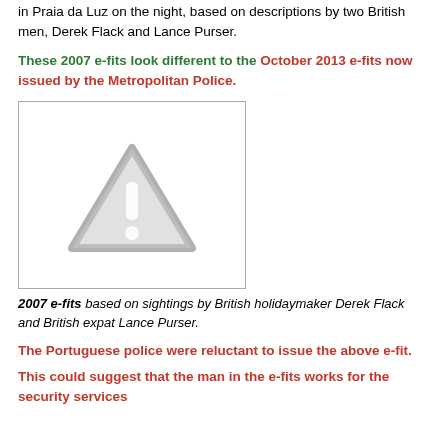in Praia da Luz on the night, based on descriptions by two British men, Derek Flack and Lance Purser.
These 2007 e-fits look different to the October 2013 e-fits now issued by the Metropolitan Police.
[Figure (photo): Placeholder image with warning triangle icon representing 2007 e-fits]
2007 e-fits based on sightings by British holidaymaker Derek Flack and British expat Lance Purser.
The Portuguese police were reluctant to issue the above e-fit.
This could suggest that the man in the e-fits works for the security services